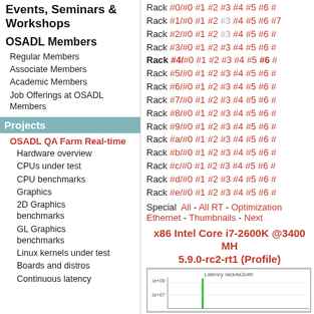Events, Seminars & Workshops
OSADL Members
Regular Members
Associate Members
Academic Members
Job Offerings at OSADL Members
Projects
OSADL QA Farm Real-time
Hardware overview
CPUs under test
CPU benchmarks
Graphics
2D Graphics benchmarks
GL Graphics benchmarks
Linux kernels under test
Boards and distros
Continuous latency
Rack #0/#0 #1 #2 #3 #4 #5 #6 #
Rack #1/#0 #1 #2 #3 #4 #5 #6 #7
Rack #2/#0 #1 #2 #3 #4 #5 #6 #
Rack #3/#0 #1 #2 #3 #4 #5 #6 #
Rack #4/#0 #1 #2 #3 #4 #5 #6
Rack #5/#0 #1 #2 #3 #4 #5 #6 #
Rack #6/#0 #1 #2 #3 #4 #5 #6 #
Rack #7/#0 #1 #2 #3 #4 #5 #6 #
Rack #8/#0 #1 #2 #3 #4 #5 #6 #
Rack #9/#0 #1 #2 #3 #4 #5 #6 #
Rack #a/#0 #1 #2 #3 #4 #5 #6 #
Rack #b/#0 #1 #2 #3 #4 #5 #6 #
Rack #c/#0 #1 #2 #3 #4 #5 #6 #
Rack #d/#0 #1 #2 #3 #4 #5 #6 #
Rack #e/#0 #1 #2 #3 #4 #5 #6 #
Special  All - All RT - Optimization - Ethernet - Thumbnails - Next
x86 Intel Core i7-2600K @3400 MHz 5.9.0-rc2-rt1 (Profile)
[Figure (continuous-plot): Latency plot for rack4a3o#6, labeled 'Latency rack4a3o#6']